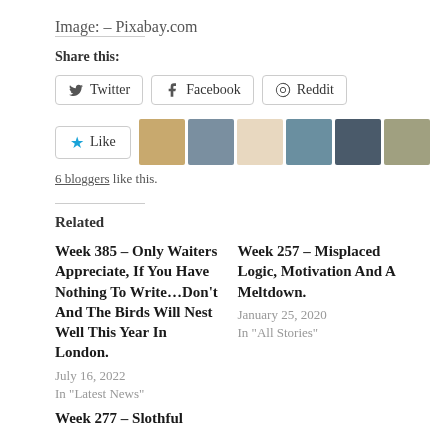Image: – Pixabay.com
Share this:
Twitter   Facebook   Reddit
Like   6 bloggers like this.
Related
Week 385 – Only Waiters Appreciate, If You Have Nothing To Write…Don't And The Birds Will Nest Well This Year In London.
July 16, 2022
In "Latest News"
Week 257 – Misplaced Logic, Motivation And A Meltdown.
January 25, 2020
In "All Stories"
Week 277 – Slothful